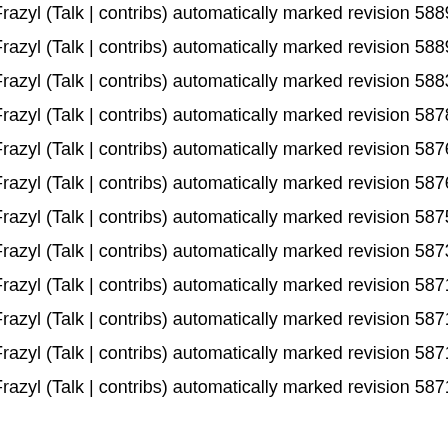Frazyl (Talk | contribs) automatically marked revision 58899 of page
Frazyl (Talk | contribs) automatically marked revision 58891 of page
Frazyl (Talk | contribs) automatically marked revision 58836 of page
Frazyl (Talk | contribs) automatically marked revision 58782 of page
Frazyl (Talk | contribs) automatically marked revision 58764 of page
Frazyl (Talk | contribs) automatically marked revision 58763 of page
Frazyl (Talk | contribs) automatically marked revision 58759 of page
Frazyl (Talk | contribs) automatically marked revision 58735 of page
Frazyl (Talk | contribs) automatically marked revision 58715 of page
Frazyl (Talk | contribs) automatically marked revision 58714 of page
Frazyl (Talk | contribs) automatically marked revision 58713 of page
Frazyl (Talk | contribs) automatically marked revision 58712 of page